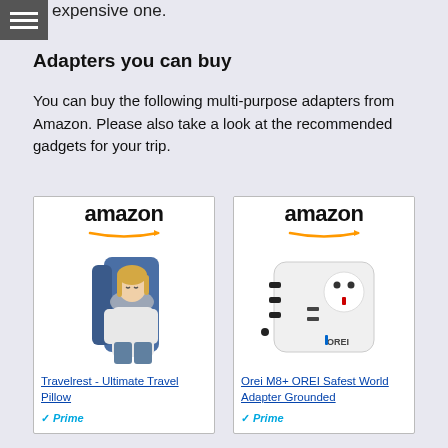expensive one.
Adapters you can buy
You can buy the following multi-purpose adapters from Amazon. Please also take a look at the recommended gadgets for your trip.
[Figure (screenshot): Amazon product card for Travelrest - Ultimate Travel Pillow with Prime badge]
[Figure (screenshot): Amazon product card for Orei M8+ OREI Safest World Adapter Grounded with Prime badge]